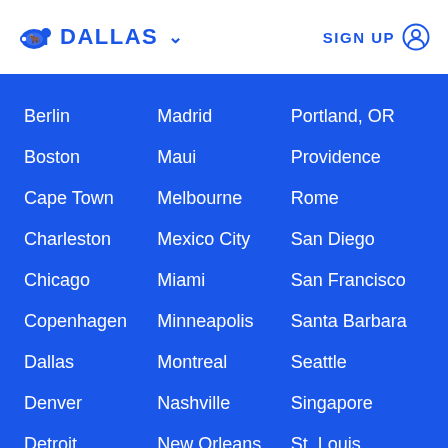DALLAS   SIGN UP
Berlin
Madrid
Portland, OR
Boston
Maui
Providence
Cape Town
Melbourne
Rome
Charleston
Mexico City
San Diego
Chicago
Miami
San Francisco
Copenhagen
Minneapolis
Santa Barbara
Dallas
Montreal
Seattle
Denver
Nashville
Singapore
Detroit
New Orleans
St. Louis
Hamptons
New York
Sydney
Hong Kong
North Carolina
Tokyo